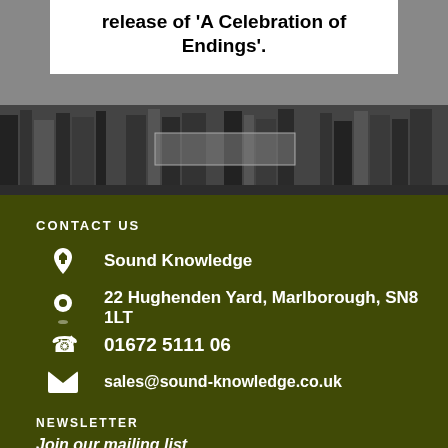release of 'A Celebration of Endings'.
[Figure (photo): Black and white photo of a bookshelf or shelves background]
CONTACT US
Sound Knowledge
22 Hughenden Yard, Marlborough, SN8 1LT
01672 5111 06
sales@sound-knowledge.co.uk
NEWSLETTER
Join our mailing list